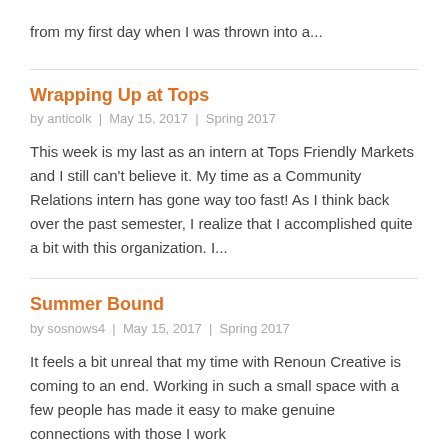from my first day when I was thrown into a...
Wrapping Up at Tops
by anticolk  |  May 15, 2017  |  Spring 2017
This week is my last as an intern at Tops Friendly Markets and I still can't believe it. My time as a Community Relations intern has gone way too fast! As I think back over the past semester, I realize that I accomplished quite a bit with this organization. I...
Summer Bound
by sosnows4  |  May 15, 2017  |  Spring 2017
It feels a bit unreal that my time with Renoun Creative is coming to an end. Working in such a small space with a few people has made it easy to make genuine connections with those I work...